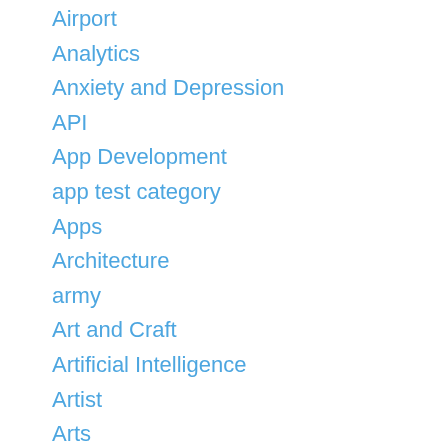Airport
Analytics
Anxiety and Depression
API
App Development
app test category
Apps
Architecture
army
Art and Craft
Artificial Intelligence
Artist
Arts
astrology
Astronaut
Audiologist